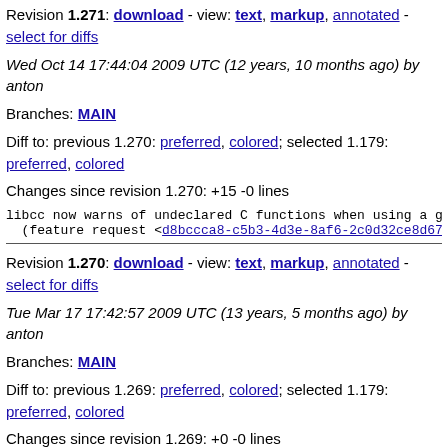Revision 1.271: download - view: text, markup, annotated - select for diffs
Wed Oct 14 17:44:04 2009 UTC (12 years, 10 months ago) by anton
Branches: MAIN
Diff to: previous 1.270: preferred, colored; selected 1.179: preferred, colored
Changes since revision 1.270: +15 -0 lines
libcc now warns of undeclared C functions when using a go
  (feature request <d8bccca8-c5b3-4d3e-8af6-2c0d32ce8d67@
Revision 1.270: download - view: text, markup, annotated - select for diffs
Tue Mar 17 17:42:57 2009 UTC (13 years, 5 months ago) by anton
Branches: MAIN
Diff to: previous 1.269: preferred, colored; selected 1.179: preferred, colored
Changes since revision 1.269: +0 -0 lines
comment for r1.268:
Now build-libcc-named also depends on libltdl (reported b
Revision 1.269: download - view: text, markup, annotated - select for diffs
Tue Mar 17 17:35:02 2009 UTC (13 years, 5 months ago) by anton